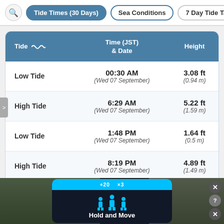Tide Times (30 Days) | Sea Conditions | 7 Day Tide Tab
| Tide | Time (JST) & Date | Height |
| --- | --- | --- |
| Low Tide | 00:30 AM (Wed 07 September) | 3.08 ft (0.94 m) |
| High Tide | 6:29 AM (Wed 07 September) | 5.22 ft (1.59 m) |
| Low Tide | 1:48 PM (Wed 07 September) | 1.64 ft (0.5 m) |
| High Tide | 8:19 PM (Wed 07 September) | 4.89 ft (1.49 m) |
[Figure (screenshot): Advertisement overlay showing 'Hold and Move' app with blue bar and person icons]